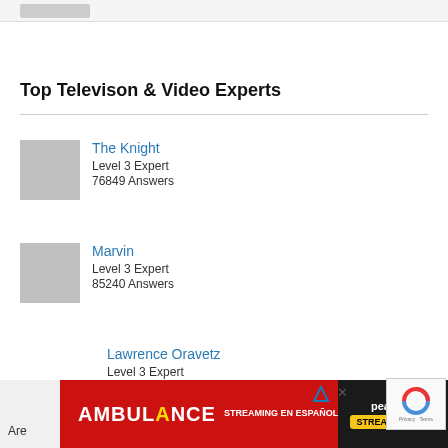Top Televison & Video Experts
The Knight
Level 3 Expert
76849 Answers
Marvin
Level 3 Expert
85240 Answers
Lawrence Oravetz
Level 3 Expert
10558 Answers
[Figure (infographic): Ad banner for Ambulance streaming on Peacock, streaming en español, with stream ahora button]